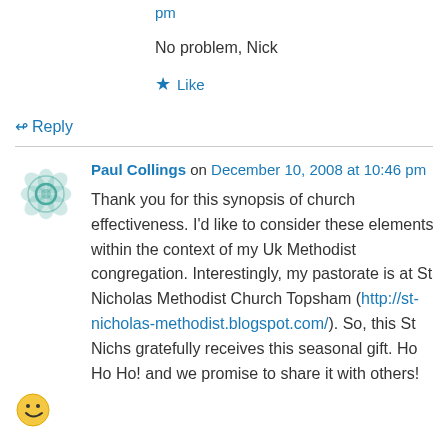pm
No problem, Nick
★ Like
↪ Reply
Paul Collings on December 10, 2008 at 10:46 pm
Thank you for this synopsis of church effectiveness. I'd like to consider these elements within the context of my Uk Methodist congregation. Interestingly, my pastorate is at St Nicholas Methodist Church Topsham (http://st-nicholas-methodist.blogspot.com/). So, this St Nichs gratefully receives this seasonal gift. Ho Ho Ho! and we promise to share it with others!